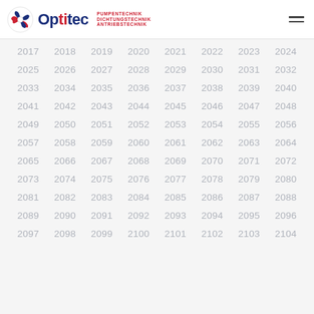Optitec PUMPENTECHNIK DICHTUNGSTECHNIK ANTRIEBSTECHNIK
2017 2018 2019 2020 2021 2022 2023 2024 2025 2026 2027 2028 2029 2030 2031 2032 2033 2034 2035 2036 2037 2038 2039 2040 2041 2042 2043 2044 2045 2046 2047 2048 2049 2050 2051 2052 2053 2054 2055 2056 2057 2058 2059 2060 2061 2062 2063 2064 2065 2066 2067 2068 2069 2070 2071 2072 2073 2074 2075 2076 2077 2078 2079 2080 2081 2082 2083 2084 2085 2086 2087 2088 2089 2090 2091 2092 2093 2094 2095 2096 2097 2098 2099 2100 2101 2102 2103 2104